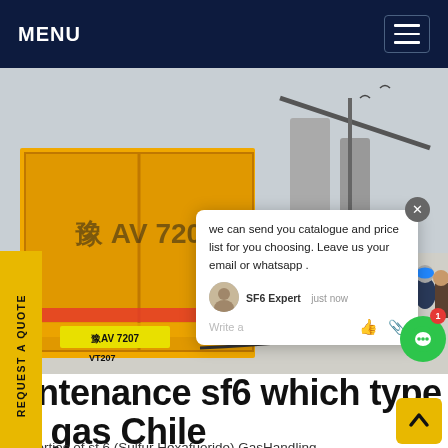MENU
[Figure (photo): Workers in blue coveralls and hard hats at an electrical substation site. A yellow truck with Chinese license plate 豫AV 7207 is parked on the left. Large electrical equipment and cranes are visible in the background.]
REQUEST A QUOTE
we can send you catalogue and price list for you choosing. Leave us your email or whatsapp .
SF6 Expert   just now
Write a
aintenance sf6 which type of gas Chile
Properties of sf 6 (Sulfur Hexafuoride) GasHandling